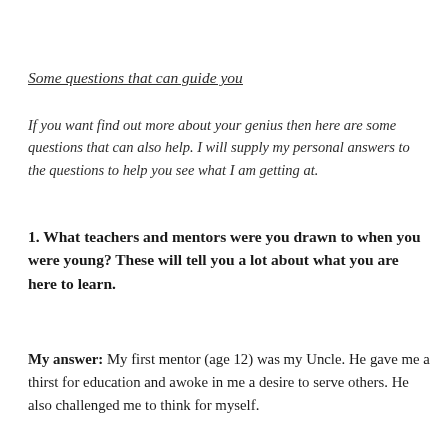Some questions that can guide you
If you want find out more about your genius then here are some questions that can also help. I will supply my personal answers to the questions to help you see what I am getting at.
1. What teachers and mentors were you drawn to when you were young? These will tell you a lot about what you are here to learn.
My answer: My first mentor (age 12) was my Uncle. He gave me a thirst for education and awoke in me a desire to serve others. He also challenged me to think for myself.